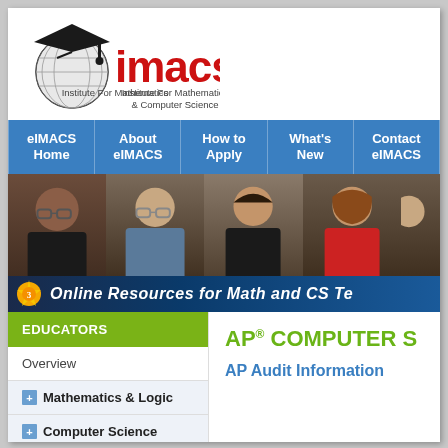[Figure (logo): iMACS logo with graduation cap and globe, red bold text 'imacs', tagline 'Institute For Mathematics & Computer Science']
eIMACS Home | About eIMACS | How to Apply | What's New | Contact eIMACS
[Figure (photo): Group of four adults smiling, diverse group, indoor setting. Banner overlay: 'Online Resources for Math and CS Te...']
EDUCATORS
Overview
Mathematics & Logic
Computer Science
Advanced Placement
AP® COMPUTER S...
AP Audit Information